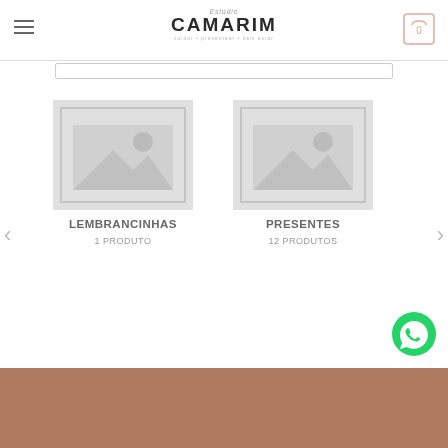Estúdio CAMARIM - cuidar • presentear • bem estar
[Figure (screenshot): Placeholder image thumbnail for LEMBRANCINHAS product category]
LEMBRANCINHAS
1 PRODUTO
[Figure (screenshot): Placeholder image thumbnail for PRESENTES product category]
PRESENTES
12 PRODUTOS
[Figure (other): WhatsApp floating action button (green circle with phone icon)]